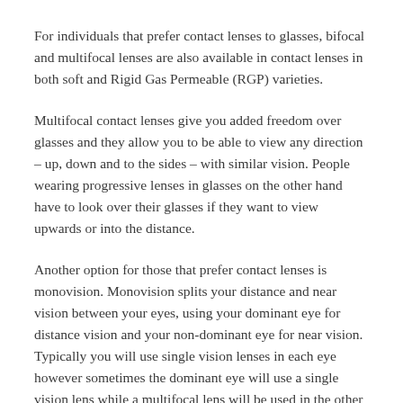For individuals that prefer contact lenses to glasses, bifocal and multifocal lenses are also available in contact lenses in both soft and Rigid Gas Permeable (RGP) varieties.
Multifocal contact lenses give you added freedom over glasses and they allow you to be able to view any direction – up, down and to the sides – with similar vision. People wearing progressive lenses in glasses on the other hand have to look over their glasses if they want to view upwards or into the distance.
Another option for those that prefer contact lenses is monovision. Monovision splits your distance and near vision between your eyes, using your dominant eye for distance vision and your non-dominant eye for near vision. Typically you will use single vision lenses in each eye however sometimes the dominant eye will use a single vision lens while a multifocal lens will be used in the other eye for intermediate and near